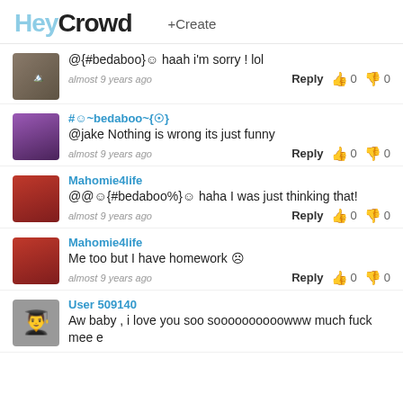HeyCrowd +Create
@{#bedaboo}☺ haah i'm sorry ! lol
almost 9 years ago   Reply  👍 0  👎 0
#☺~bedaboo~{☺}
@jake Nothing is wrong its just funny
almost 9 years ago   Reply  👍 0  👎 0
Mahomie4life
@@☺{#bedaboo%}☺ haha I was just thinking that!
almost 9 years ago   Reply  👍 0  👎 0
Mahomie4life
Me too but I have homework ☹
almost 9 years ago   Reply  👍 0  👎 0
User 509140
Aw baby , i love you soo soooooooooowww much fuck mee e